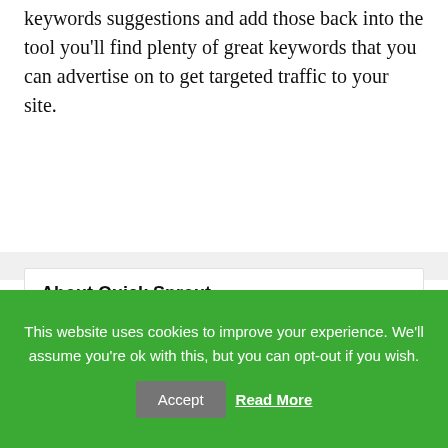keywords suggestions and add those back into the tool you'll find plenty of great keywords that you can advertise on to get targeted traffic to your site.
About Quick Sprout
We're here to help you start, run, and
This website uses cookies to improve your experience. We'll assume you're ok with this, but you can opt-out if you wish.